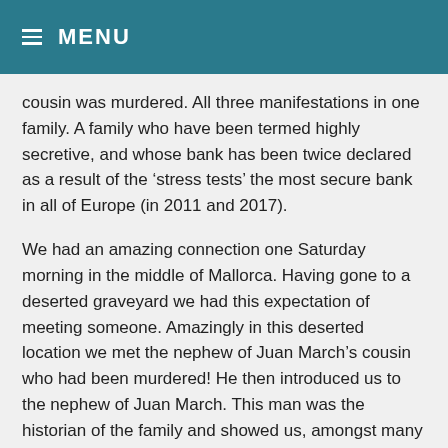≡ MENU
cousin was murdered. All three manifestations in one family. A family who have been termed highly secretive, and whose bank has been twice declared as a result of the 'stress tests' the most secure bank in all of Europe (in 2011 and 2017).
We had an amazing connection one Saturday morning in the middle of Mallorca. Having gone to a deserted graveyard we had this expectation of meeting someone. Amazingly in this deserted location we met the nephew of Juan March's cousin who had been murdered! He then introduced us to the nephew of Juan March. This man was the historian of the family and showed us, amongst many other items, a copy of 'The Last Pirate of the Mediterranean' in Russian as it had been used by the...